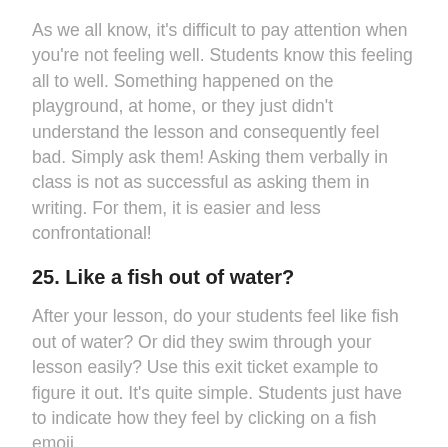As we all know, it's difficult to pay attention when you're not feeling well. Students know this feeling all to well. Something happened on the playground, at home, or they just didn't understand the lesson and consequently feel bad. Simply ask them! Asking them verbally in class is not as successful as asking them in writing. For them, it is easier and less confrontational!
25. Like a fish out of water?
After your lesson, do your students feel like fish out of water? Or did they swim through your lesson easily? Use this exit ticket example to figure it out. It's quite simple. Students just have to indicate how they feel by clicking on a fish emoji.